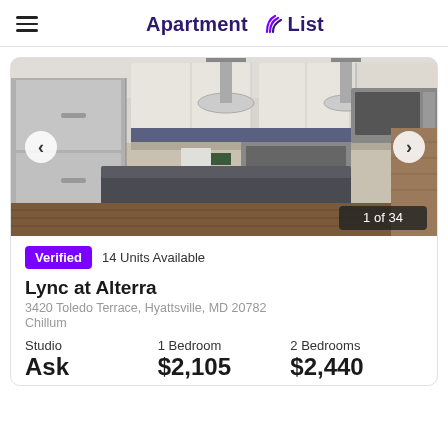Apartment List
[Figure (photo): Kitchen interior photo showing stainless steel refrigerator, pendant lights, granite island, and stainless appliances. Navigation arrows on left and right. Counter shows '1 of 34'.]
Verified | 14 Units Available
Lync at Alterra
3420 Toledo Terrace, Hyattsville, MD 20782
Chillum
| Studio | 1 Bedroom | 2 Bedrooms |
| --- | --- | --- |
| Ask | $2,105 | $2,440 |